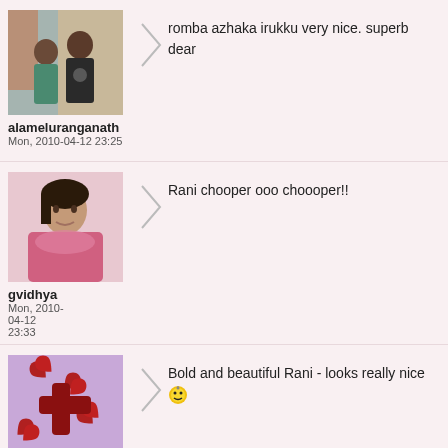[Figure (photo): Profile photo of two people (a couple) in a room]
alameluranganath
Mon, 2010-04-12 23:25
romba azhaka irukku very nice. superb dear
[Figure (photo): Profile photo of a woman in pink clothing]
gvidhya
Mon, 2010-04-12 23:33
Rani chooper ooo choooper!!
[Figure (logo): Red X/cross symbol icon on purple background]
judelined
Bold and beautiful Rani - looks really nice 😊